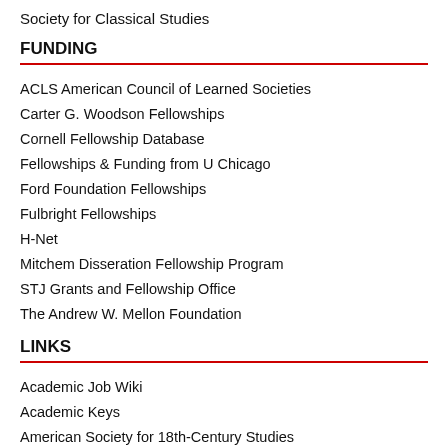Society for Classical Studies
FUNDING
ACLS American Council of Learned Societies
Carter G. Woodson Fellowships
Cornell Fellowship Database
Fellowships & Funding from U Chicago
Ford Foundation Fellowships
Fulbright Fellowships
H-Net
Mitchem Disseration Fellowship Program
STJ Grants and Fellowship Office
The Andrew W. Mellon Foundation
LINKS
Academic Job Wiki
Academic Keys
American Society for 18th-Century Studies